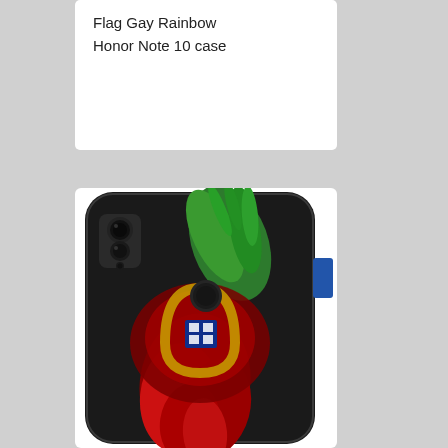Flag Gay Rainbow Honor Note 10 case
[Figure (photo): Photo of a smartphone case (Honor Note 10) featuring the Portuguese flag design as a stylized phoenix/eagle bird with red and green splashes on a black background, with the Portuguese coat of arms in the center.]